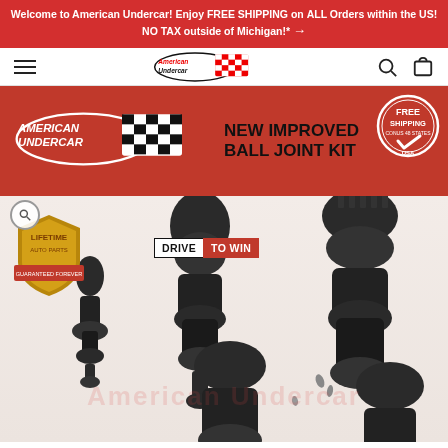Welcome to American Undercar! Enjoy FREE SHIPPING on ALL Orders within the US! NO TAX outside of Michigan!* →
[Figure (logo): American Undercar logo with checkered flag in navigation bar]
[Figure (photo): New Improved Ball Joint Kit product image showing multiple ball joint parts arranged on white/red background, with American Undercar logo overlay, Lifetime Auto Parts badge, Drive To Win badge, and Free Shipping badge]